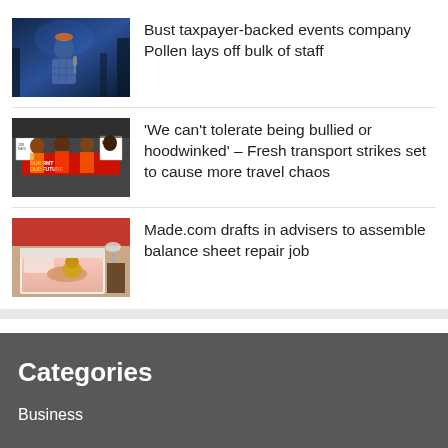[Figure (photo): Person in blue plaid shirt and orange hat performing or speaking, dark blue/purple background with trees]
Bust taxpayer-backed events company Pollen lays off bulk of staff
[Figure (photo): Group of protesters holding red signs and banners including 'Our RMT Our Future']
'We can't tolerate being bullied or hoodwinked' – Fresh transport strikes set to cause more travel chaos
[Figure (photo): Bedroom scene with pink bedding, person lying on bed, red wall, small side table with lamp]
Made.com drafts in advisers to assemble balance sheet repair job
Categories
Business